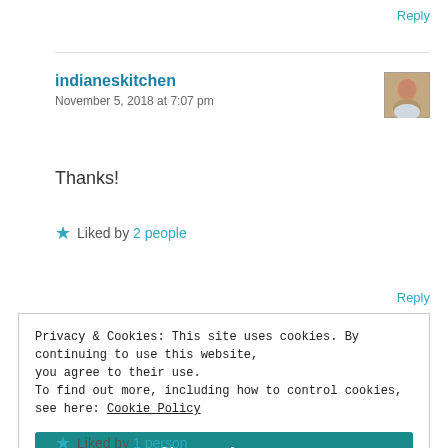Reply
indianeskitchen
November 5, 2018 at 7:07 pm
[Figure (photo): Avatar/profile photo of a person]
Thanks!
★ Liked by 2 people
Reply
Privacy & Cookies: This site uses cookies. By continuing to use this website, you agree to their use.
To find out more, including how to control cookies, see here: Cookie Policy
Close and accept
★ Liked by 1 person